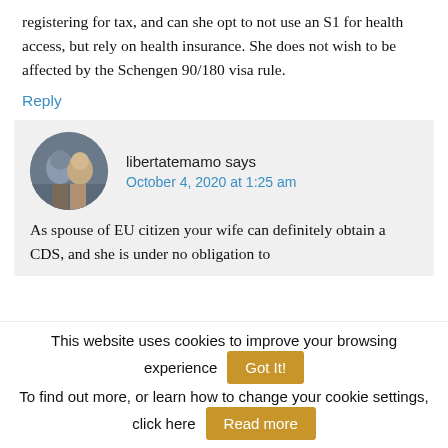registering for tax, and can she opt to not use an S1 for health access, but rely on health insurance. She does not wish to be affected by the Schengen 90/180 visa rule.
Reply
libertatemamo says
October 4, 2020 at 1:25 am
As spouse of EU citizen your wife can definitely obtain a CDS, and she is under no obligation to
This website uses cookies to improve your browsing experience   Got It!
To find out more, or learn how to change your cookie settings, click here   Read more